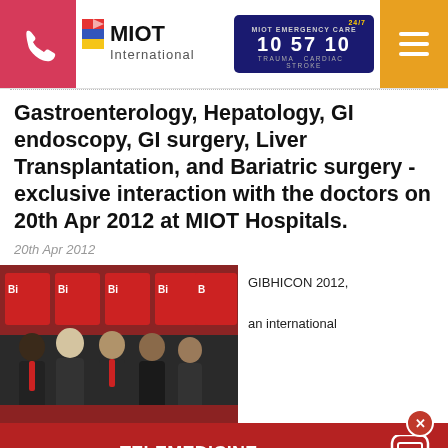MIOT International | MIOT EMERGENCY CARE 10 57 10
Gastroenterology, Hepatology, GI endoscopy, GI surgery, Liver Transplantation, and Bariatric surgery - exclusive interaction with the doctors on 20th April 2012 at MIOT Hospitals.
20th Apr 2012
[Figure (photo): Group of doctors/professionals standing and talking in front of Indo British Health Initiative (IBHI) banners at GIBHICON 2012 event at MIOT Hospitals]
GIBHICON 2012, an international
TELEMEDICINE APPOINTMENTS
IBHI (Indo British Health Initiative)